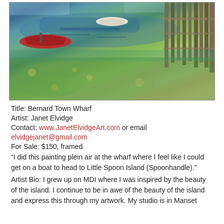[Figure (illustration): Impressionist painting of Bernard Town Wharf with a red boat on the left, a white boat in the water, a wooden dock/pier on the right, and lush green waterfront scenery.]
Title: Bernard Town Wharf
Artist: Janet Elvidge
Contact: www.JanetElvidgeArt.com or email elvidgejanet@gmail.com
For Sale: $150, framed
“I did this painting plein air at the wharf where I feel like I could get on a boat to head to Little Spoon Island (Spoonhandle).”
Artist Bio: I grew up on MDI where I was inspired by the beauty of the island. I continue to be in awe of the beauty of the island and express this through my artwork. My studio is in Manset.